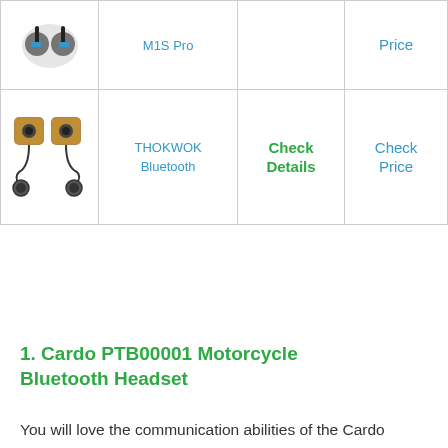| Image | Product | Details | Price |
| --- | --- | --- | --- |
| [image] | M1S Pro |  | Price |
| [image] | THOKWOK Bluetooth | Check Details | Check Price |
1. Cardo PTB00001 Motorcycle Bluetooth Headset
You will love the communication abilities of the Cardo PTB00001 Bluetooth Headset. The sound quality is amazing, and you can control all the functions with my voice. It's
or $56.99